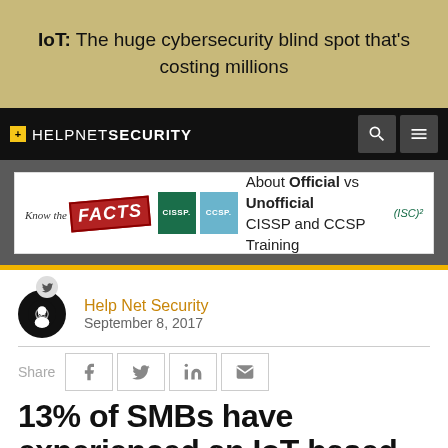IoT: The huge cybersecurity blind spot that's costing millions
[Figure (screenshot): HelpNetSecurity website navigation bar with logo, search icon, and menu icon on black background]
[Figure (infographic): Advertisement banner: Know the FACTS - About Official vs Unofficial CISSP and CCSP Training (ISC)2]
Help Net Security
September 8, 2017
Share
13% of SMBs have experienced an IoT-based attack
One in four companies have already experienced a